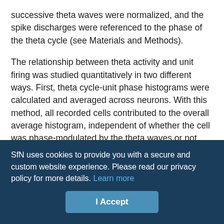successive theta waves were normalized, and the spike discharges were referenced to the phase of the theta cycle (see Materials and Methods).

The relationship between theta activity and unit firing was studied quantitatively in two different ways. First, theta cycle-unit phase histograms were calculated and averaged across neurons. With this method, all recorded cells contributed to the overall average histogram, independent of whether the cell was phase-modulated by the theta waves or not (Fig. 5C). Second, the preferred phase of the theta cycle for a given neuron was determined quantitatively, and the preferred phase values were displayed in a histogram. For this histogram, only units with significant phase modulation (see
SfN uses cookies to provide you with a secure and custom website experience. Please read our privacy policy for more details. Learn more